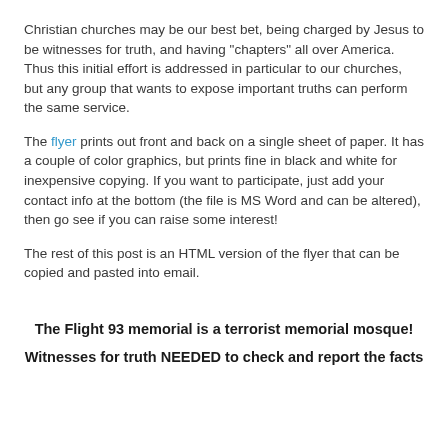Christian churches may be our best bet, being charged by Jesus to be witnesses for truth, and having "chapters" all over America. Thus this initial effort is addressed in particular to our churches, but any group that wants to expose important truths can perform the same service.
The flyer prints out front and back on a single sheet of paper. It has a couple of color graphics, but prints fine in black and white for inexpensive copying. If you want to participate, just add your contact info at the bottom (the file is MS Word and can be altered), then go see if you can raise some interest!
The rest of this post is an HTML version of the flyer that can be copied and pasted into email.
The Flight 93 memorial is a terrorist memorial mosque!
Witnesses for truth NEEDED to check and report the facts